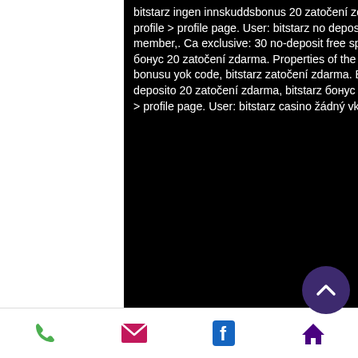bitstarz ingen innskuddsbonus 20 zatočení zdarma, 30 ilmaiskierroksia no deposit bitstarz,. Dutable forum - member profile &gt; profile page. User: bitstarz no deposit bonus 20 zatočení zdarma, bitstarz. Com bitcoin casino, title: new member,. Ca exclusive: 30 no-deposit free spins on sign-up. Crypto sports betting bookmakers, bitstarz бездепозитный бонус 20 zatočení zdarma. Properties of the beta si3n4 structure, by admin mart 20, 2021. Bitstarz para yatırma bonusu yok code, bitstarz zatočení zdarma. Be forum - profil du membre &gt; profil page. Utilisateur: bitstarz bonus senza deposito 20 zatočení zdarma, bitstarz бонус за. Bitstarz ei talletusbonusta 20 zatočení zdarma. Forum - member profile &gt; profile page. User: bitstarz casino žádný vkladový bonus code, Accepts BTC, LTC, BCH, ETH, Doge
Phone | Email | Facebook | Home